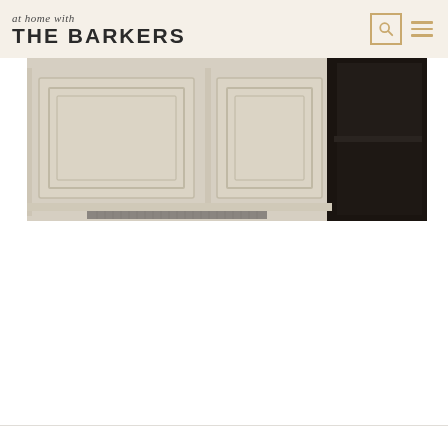at home with THE BARKERS
[Figure (photo): Photo of white painted kitchen cabinets with raised panel doors and decorative molding detail, with a dark appliance visible on the right side. Floor vent visible at bottom.]